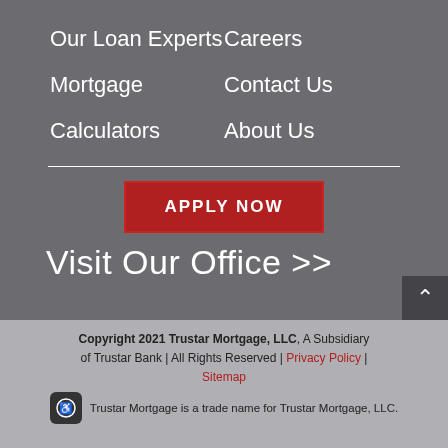Our Loan Experts
Careers
Mortgage
Contact Us
Calculators
About Us
APPLY NOW
Visit Our Office >>
Copyright 2021 Trustar Mortgage, LLC, A Subsidiary of Trustar Bank | All Rights Reserved | Privacy Policy | Sitemap
Trustar Mortgage is a trade name for Trustar Mortgage, LLC.